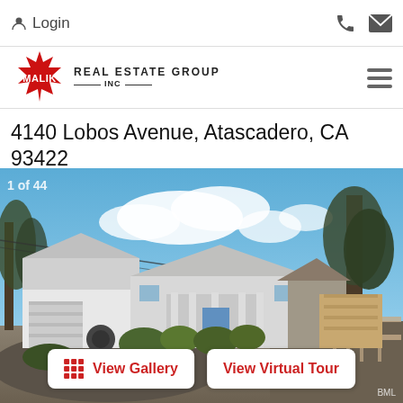Login
[Figure (logo): Malik Real Estate Group Inc logo with red starburst and text]
4140 Lobos Avenue, Atascadero, CA 93422
[Figure (photo): Exterior photo of a single-story residential property at 4140 Lobos Avenue, Atascadero, CA. Shows a white house with garage, driveway, trees, and blue sky with clouds.]
View Gallery   View Virtual Tour